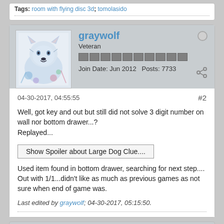Tags: room with flying disc 3d; tomolasido
graywolf
Veteran
Join Date: Jun 2012   Posts: 7733
04-30-2017, 04:55:55
#2
Well, got key and out but still did not solve 3 digit number on wall nor bottom drawer...?
Replayed...
Show Spoiler about Large Dog Clue....
Used item found in bottom drawer, searching for next step....
Out with 1/1...didn't like as much as previous games as not sure when end of game was.
Last edited by graywolf; 04-30-2017, 05:15:50.
Kzin
Super Happy Mod